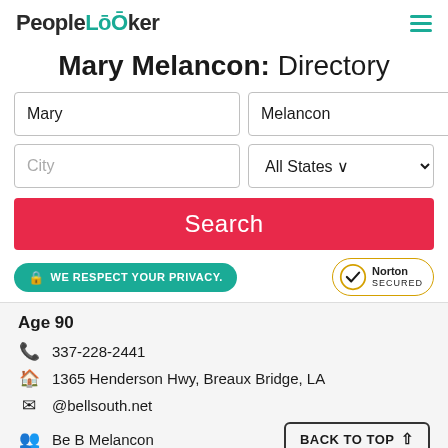PeopleLooker
Mary Melancon: Directory
Mary | Melancon (search fields)
City | All States (search fields)
Search (button)
WE RESPECT YOUR PRIVACY. | Norton SECURED
Age 90
337-228-2441
1365 Henderson Hwy, Breaux Bridge, LA
@bellsouth.net
Be B Melancon